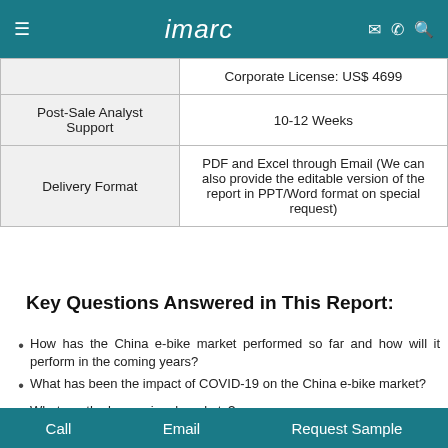imarc
|  |  |
| --- | --- |
|  | Corporate License: US$ 4699 |
| Post-Sale Analyst Support | 10-12 Weeks |
| Delivery Format | PDF and Excel through Email (We can also provide the editable version of the report in PPT/Word format on special request) |
Key Questions Answered in This Report:
How has the China e-bike market performed so far and how will it perform in the coming years?
What has been the impact of COVID-19 on the China e-bike market?
What are the key regional markets?
What is the breakup of the market based on the mode?
Call    Email    Request Sample